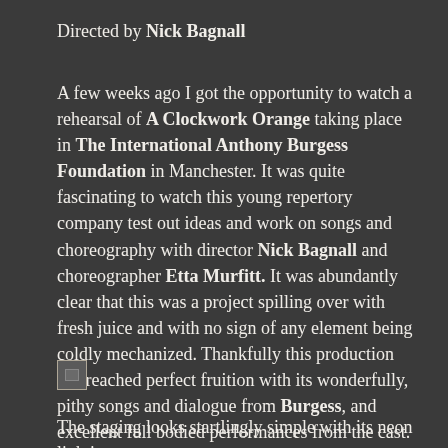Directed by Nick Bagnall
A few weeks ago I got the opportunity to watch a rehearsal of A Clockwork Orange taking place in The International Anthony Burgess Foundation in Manchester. It was quite fascinating to watch this young repertory company test out ideas and work on songs and choreography with director Nick Bagnall and choreographer Etta Murfitt. It was abundantly clear that this was a project spilling over with fresh juice and with no sign of any element being coldly mechanized. Thankfully this production has reached perfect fruition with its wonderfully, pithy songs and dialogue from Burgess, and excellent full bodied performances from the cast.
[Figure (photo): Small image placeholder]
The staging looks startlingly simple with its neon lighting